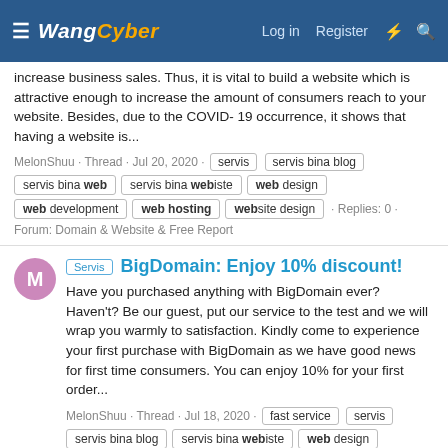WangCyber — Log in  Register
increase business sales. Thus, it is vital to build a website which is attractive enough to increase the amount of consumers reach to your website. Besides, due to the COVID- 19 occurrence, it shows that having a website is...
MelonShuu · Thread · Jul 20, 2020 · servis  servis bina blog  servis bina web  servis bina webiste  web design  web development  web hosting  website design · Replies: 0 · Forum: Domain & Website & Free Report
BigDomain: Enjoy 10% discount!
Have you purchased anything with BigDomain ever? Haven't? Be our guest, put our service to the test and we will wrap you warmly to satisfaction. Kindly come to experience your first purchase with BigDomain as we have good news for first time consumers. You can enjoy 10% for your first order...
MelonShuu · Thread · Jul 18, 2020 · fast service  servis  servis bina blog  servis bina webiste  web design  web development  web hosting  website · Replies: 0 · Forum: Domain & Website & Free Report